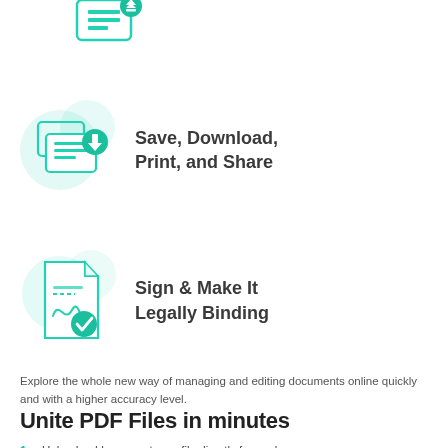[Figure (illustration): Partially visible printer/document icon with green download arrow badge at top of page]
[Figure (illustration): Printer icon with green download arrow badge and teal circular background glow]
Save, Download, Print, and Share
[Figure (illustration): Document/signature icon with green checkmark badge and teal circular background glow]
Sign & Make It Legally Binding
Explore the whole new way of managing and editing documents online quickly and with a higher accuracy level.
Unite PDF Files in minutes
Upload, add or export your file directly from a browser.
Take advantage of a rich set of editing tools: add, remove, annotate, highlight, or blackout text.
Build interactive PDF forms and collect information from customers.